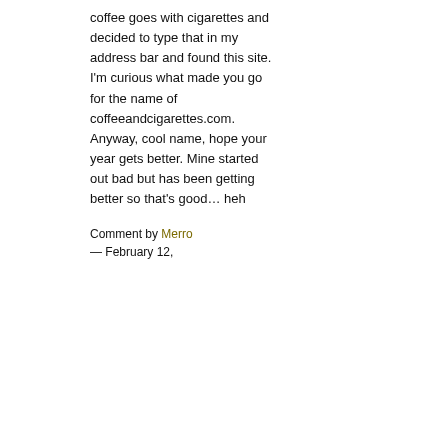coffee goes with cigarettes and decided to type that in my address bar and found this site. I'm curious what made you go for the name of coffeeandcigarettes.com. Anyway, cool name, hope your year gets better. Mine started out bad but has been getting better so that's good… heh
Comment by Merro
— February 12,